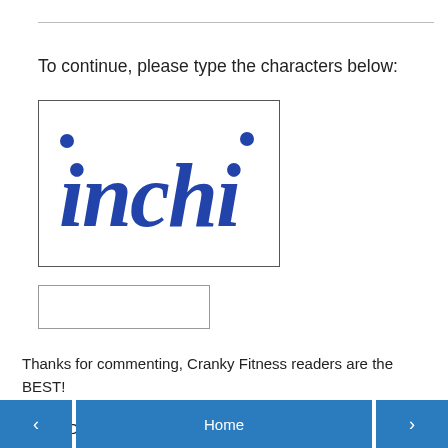To continue, please type the characters below:
[Figure (other): CAPTCHA image showing the word 'inchi' in stylized blue letters on a white background, inside a bordered box]
Thanks for commenting, Cranky Fitness readers are the BEST!
Subscribe to comments via RSS
(Note: Older Comment Threads Are Moderated)
‹   Home   ›